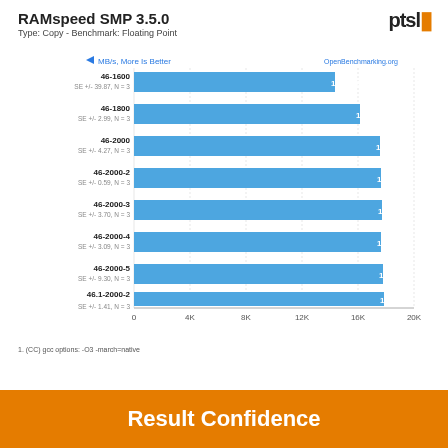RAMspeed SMP 3.5.0
Type: Copy - Benchmark: Floating Point
[Figure (bar-chart): MB/s, More Is Better]
1. (CC) gcc options: -O3 -march=native
Result Confidence